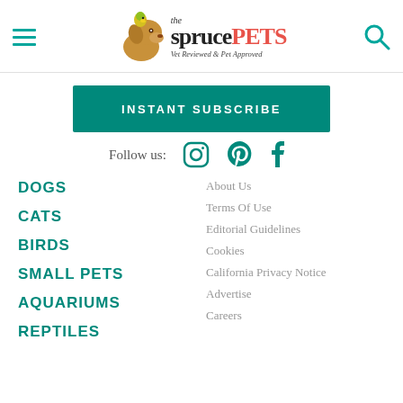the sprucePETS — Vet Reviewed & Pet Approved
INSTANT SUBSCRIBE
Follow us:
DOGS
CATS
BIRDS
SMALL PETS
AQUARIUMS
REPTILES
About Us
Terms Of Use
Editorial Guidelines
Cookies
California Privacy Notice
Advertise
Careers